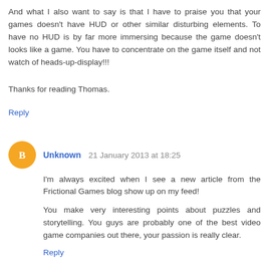And what I also want to say is that I have to praise you that your games doesn't have HUD or other similar disturbing elements. To have no HUD is by far more immersing because the game doesn't looks like a game. You have to concentrate on the game itself and not watch of heads-up-display!!!
Thanks for reading Thomas.
Reply
Unknown  21 January 2013 at 18:25
I'm always excited when I see a new article from the Frictional Games blog show up on my feed!
You make very interesting points about puzzles and storytelling. You guys are probably one of the best video game companies out there, your passion is really clear.
Reply